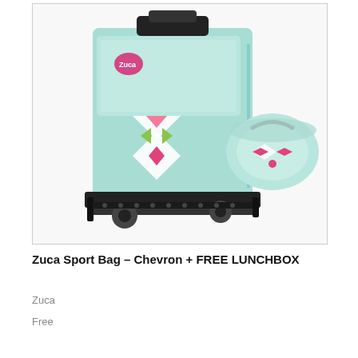[Figure (photo): Product photo of a Zuca Sport Bag in Chevron pattern (mint/teal with pink, green, and gray diamond/chevron print) on a black wheeled frame, with a matching round lunchbox bag attached to the side. The bag is shown at an angle on a white background.]
Zuca Sport Bag – Chevron + FREE LUNCHBOX
Zuca
Free